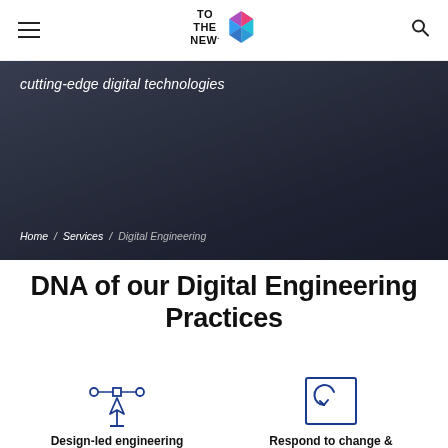TO THE NEW (logo)
[Figure (photo): Dark background hero image showing a tablet device with digital content, overlaid with semi-transparent dark gradient]
cutting-edge digital technologies
Home / Services / Digital Engineering
DNA of our Digital Engineering Practices
[Figure (illustration): Design-led engineering icon: pen tool with bezier handle nodes above, in blue outline style]
Design-led engineering
[Figure (illustration): Respond to change icon: square with left-curved arrow inside, in blue outline style]
Respond to change & pivot fast